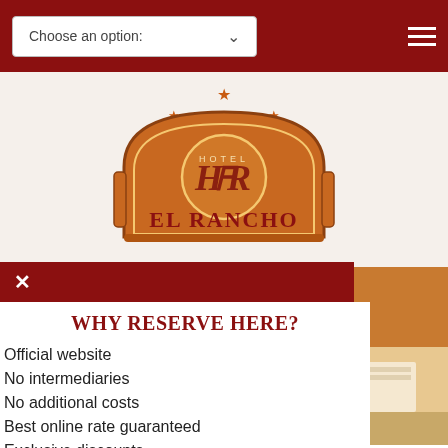Choose an option:
[Figure (logo): Hotel El Rancho logo — orange/brown decorative sign with stylized HR monogram, stars, and arch shape]
WHY RESERVE HERE?
Official website
No intermediaries
No additional costs
Best online rate guaranteed
Exclusive discounts
Free parking
Register and get an special offer
RESERVE NOW
ACCOMMODATIONS